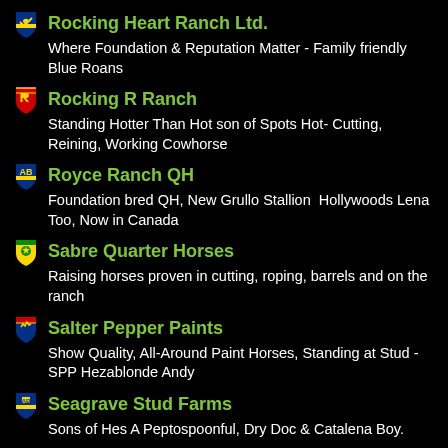Rocking Heart Ranch Ltd. — Where Foundation & Reputation Matter - Family friendly Blue Roans
Rocking R Ranch — Standing Hotter Than Hot son of Spots Hot- Cutting, Reining, Working Cowhorse
Royce Ranch QH — Foundation bred QH, New Grullo Stallion  Hollywoods Lena Too, Now in Canada
Sabre Quarter Horses — Raising horses proven in cutting, roping, barrels and on the ranch
Salter Pepper Paints — Show Quality, All-Around Paint Horses, Standing at Stud - SPP Hezablonde Andy
Seagrave Stud Farms — Sons of Hes A Peptospoonful, Dry Doc & Catalena Boy.